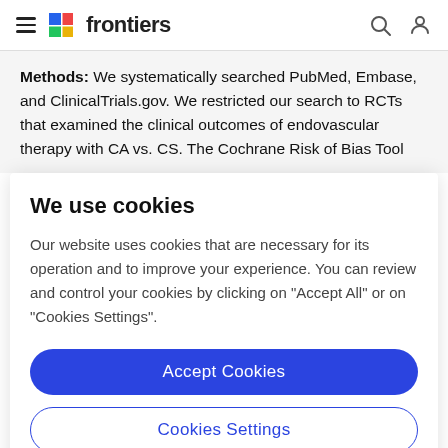frontiers
Methods: We systematically searched PubMed, Embase, and ClinicalTrials.gov. We restricted our search to RCTs that examined the clinical outcomes of endovascular therapy with CA vs. CS. The Cochrane Risk of Bias Tool
We use cookies
Our website uses cookies that are necessary for its operation and to improve your experience. You can review and control your cookies by clicking on "Accept All" or on "Cookies Settings".
Accept Cookies
Cookies Settings